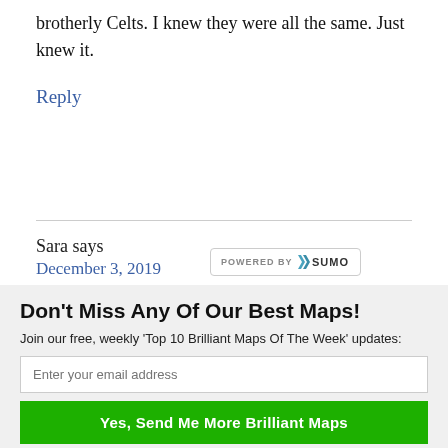brotherly Celts. I knew they were all the same. Just knew it.
Reply
Sara says
December 3, 2019
[Figure (logo): Powered by Sumo badge/logo overlay]
Don't Miss Any Of Our Best Maps!
Join our free, weekly 'Top 10 Brilliant Maps Of The Week' updates:
Enter your email address
Yes, Send Me More Brilliant Maps